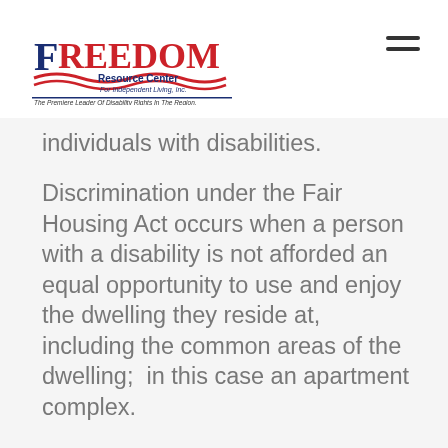[Figure (logo): Freedom Resource Center for Independent Living, Inc. logo with text 'The Premiere Leader Of Disability Rights In The Region.']
individuals with disabilities.
Discrimination under the Fair Housing Act occurs when a person with a disability is not afforded an equal opportunity to use and enjoy the dwelling they reside at, including the common areas of the dwelling;  in this case an apartment complex.